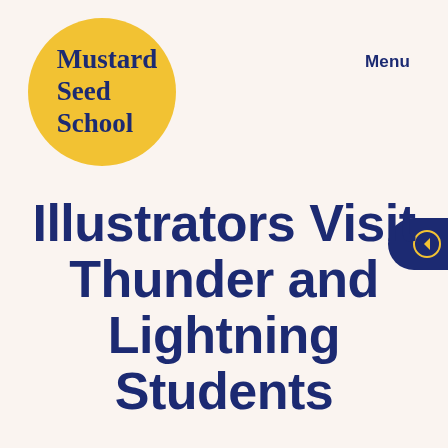[Figure (logo): Mustard Seed School logo: circular yellow badge with dark navy serif text reading 'Mustard Seed School']
Menu
Illustrators Visit Thunder and Lightning Students